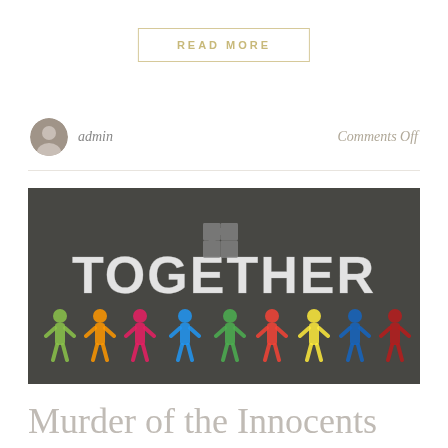READ MORE
admin
Comments Off
[Figure (illustration): Dark chalkboard background with colorful chalk-drawn paper cutout people holding hands in a row. Above them the word TOGETHER is written in bold white sketch-style letters with a puzzle piece graphic above it.]
Murder of the Innocents